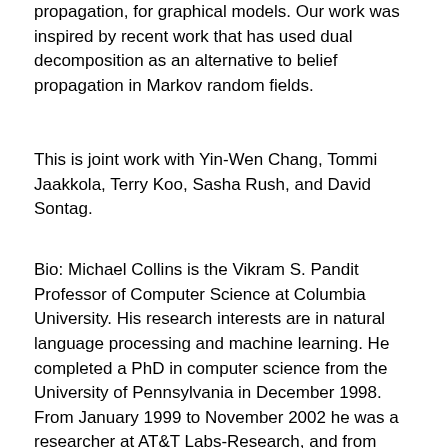propagation, for graphical models. Our work was inspired by recent work that has used dual decomposition as an alternative to belief propagation in Markov random fields.
This is joint work with Yin-Wen Chang, Tommi Jaakkola, Terry Koo, Sasha Rush, and David Sontag.
Bio: Michael Collins is the Vikram S. Pandit Professor of Computer Science at Columbia University. His research interests are in natural language processing and machine learning. He completed a PhD in computer science from the University of Pennsylvania in December 1998. From January 1999 to November 2002 he was a researcher at AT&T Labs-Research, and from January 2003 until December 2010 he was an assistant/associate professor at MIT. He joined Columbia University in January 2011. Prof. Collins's research has focused on topics including statistical parsing, structured prediction problems in machine learning, and NLP applications including machine